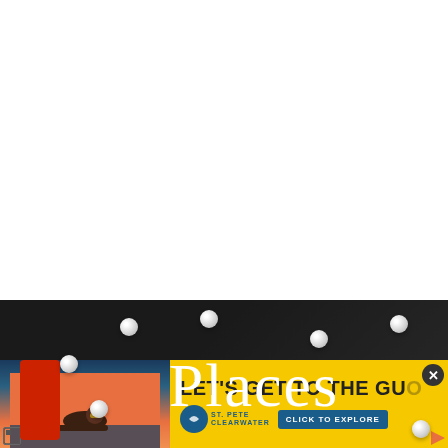[Figure (photo): White blank space (top portion of page)]
[Figure (photo): Black background banner with cursive white text reading 'Places' decorated with pearl beads and a red element on the left]
[Figure (photo): Advertisement banner with yellow background. Left side shows a woman in sunglasses lying by a pool at sunset. Right side shows text 'LET'S GET TO THE GU...' with St. Pete Clearwater logo and 'CLICK TO EXPLORE' button. Has a close (X) button in top right.]